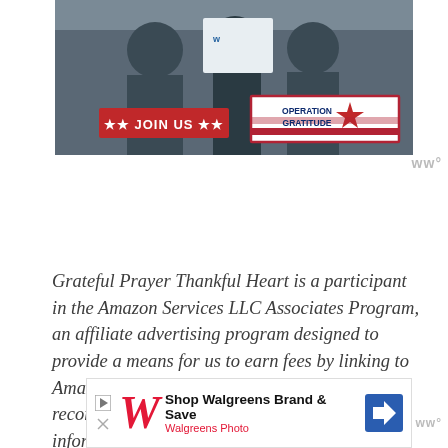[Figure (photo): Operation Gratitude promotional banner showing people in military attire with 'JOIN US' red button and Operation Gratitude logo with American flag star design]
Grateful Prayer Thankful Heart is a participant in the Amazon Services LLC Associates Program, an affiliate advertising program designed to provide a means for us to earn fees by linking to Amazon.com and affiliated sites. We will only recommend products we use, love or think are informative and helpful.
[Figure (infographic): Walgreens advertisement banner: Shop Walgreens Brand & Save - Walgreens Photo, with Walgreens W logo and directional arrow icon]